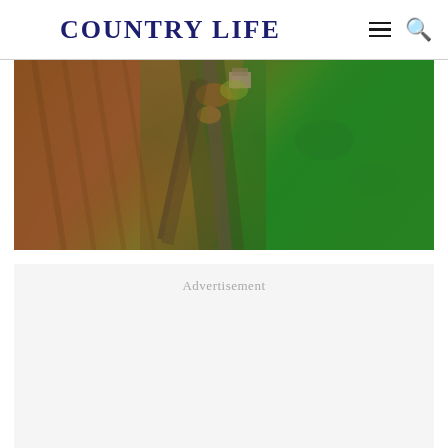COUNTRY LIFE
[Figure (photo): Aerial photograph of farmland showing ploughed brown fields on the left, a tree-lined road/avenue running diagonally through the center, a stone building/farmhouse surrounded by autumn trees in the middle, and green pasture fields on the right.]
Advertisement